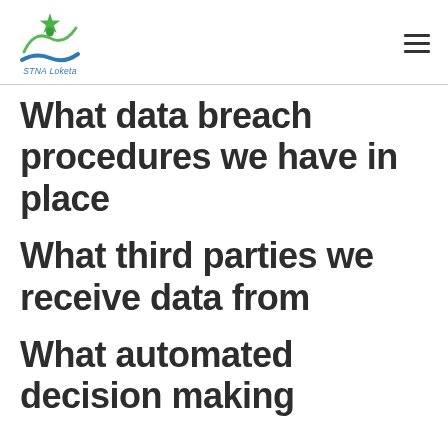STNA Loketa
What data breach procedures we have in place
What third parties we receive data from
What automated decision making